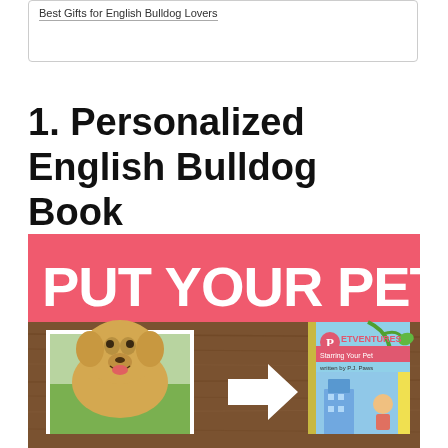Best Gifts for English Bulldog Lovers
1. Personalized English Bulldog Book
[Figure (photo): Promotional image for a personalized pet book product. Red banner at top reads 'PUT YOUR PET...' in large bold white text. Below shows a golden retriever dog photo on left with a white arrow pointing to a 'PETVENTURES Starring Your Pet' book cover on the right, set against a wooden background.]